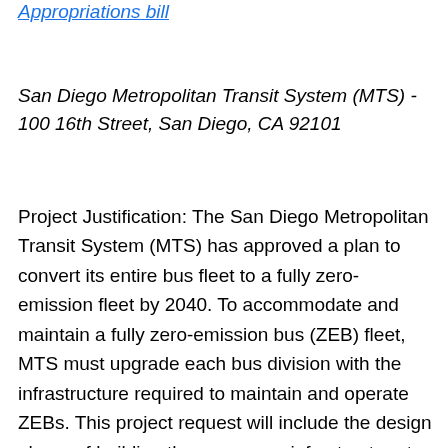Appropriations bill
San Diego Metropolitan Transit System (MTS) - 100 16th Street, San Diego, CA 92101
Project Justification: The San Diego Metropolitan Transit System (MTS) has approved a plan to convert its entire bus fleet to a fully zero-emission fleet by 2040. To accommodate and maintain a fully zero-emission bus (ZEB) fleet, MTS must upgrade each bus division with the infrastructure required to maintain and operate ZEBs. This project request will include the design phase of building the necessary infrastructure to support the operations of ZEBs. This project will help with future expansion needs to fulfill MTS's commitment to converting to a fully ZEB fleet and enable MTS to continue providing vital, clean, and